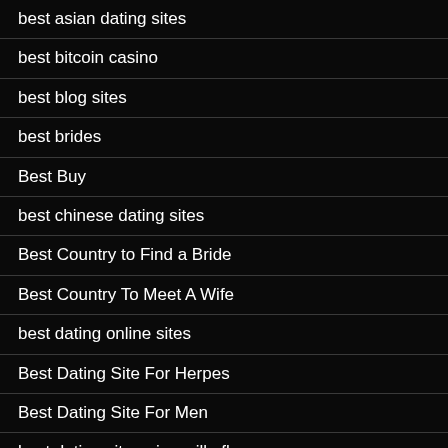best asian dating sites
best bitcoin casino
best blog sites
best brides
Best Buy
best chinese dating sites
Best Country to Find a Bride
Best Country To Meet A Wife
best dating online sites
Best Dating Site For Herpes
Best Dating Site For Men
best dating site gainesville fl
Best Dating Site Usernames For Guys